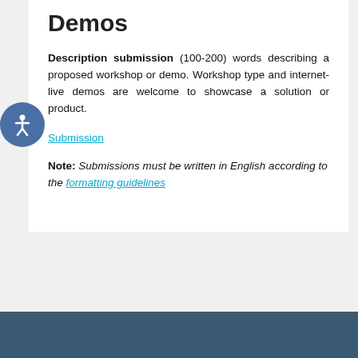Demos
Description submission (100-200) words describing a proposed workshop or demo. Workshop type and internet-live demos are welcome to showcase a solution or product.
Submission
Note: Submissions must be written in English according to the formatting guidelines